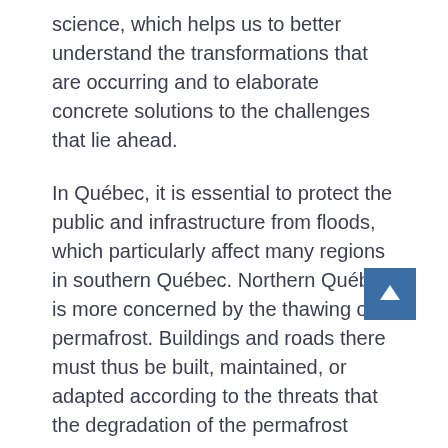science, which helps us to better understand the transformations that are occurring and to elaborate concrete solutions to the challenges that lie ahead.
In Québec, it is essential to protect the public and infrastructure from floods, which particularly affect many regions in southern Québec. Northern Québec is more concerned by the thawing of permafrost. Buildings and roads there must thus be built, maintained, or adapted according to the threats that the degradation of the permafrost pose.
The protection of the coasts and the Estuary and the Gulf of St. Lawrence is indispensable to avoid erosion-related damage that affects people and infrastructure. The creation of cool areas to